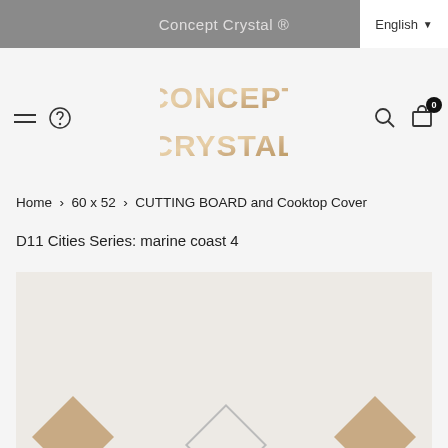Concept Crystal ®
[Figure (logo): Concept Crystal logo with metallic gold/bronze 3D lettering]
Home > 60 x 52 > CUTTING BOARD and Cooktop Cover
D11 Cities Series: marine coast 4
[Figure (photo): Product image area showing partial view of cutting board with diamond decorative elements]